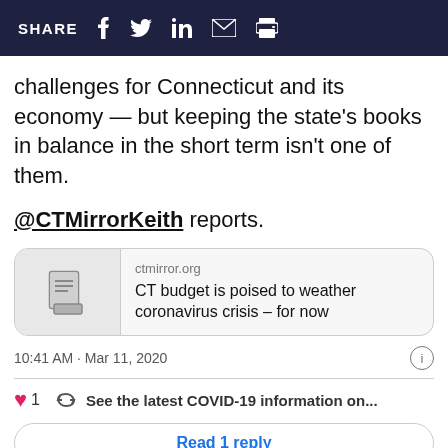SHARE
challenges for Connecticut and its economy — but keeping the state's books in balance in the short term isn't one of them.
@CTMirrorKeith reports.
[Figure (screenshot): Link card preview showing ctmirror.org article: CT budget is poised to weather coronavirus crisis – for now]
10:41 AM · Mar 11, 2020
1   See the latest COVID-19 information on...
Read 1 reply